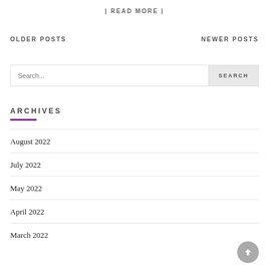| READ MORE |
OLDER POSTS
NEWER POSTS
Search...
ARCHIVES
August 2022
July 2022
May 2022
April 2022
March 2022